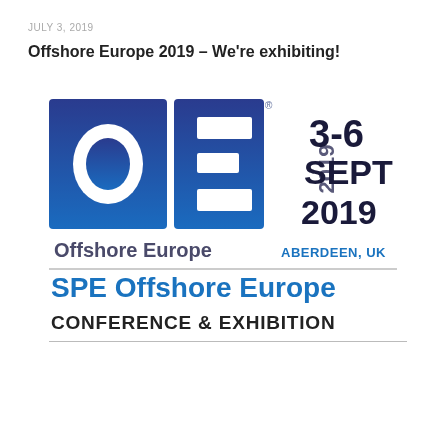JULY 3, 2019
Offshore Europe 2019 – We're exhibiting!
[Figure (logo): SPE Offshore Europe 2019 conference logo featuring 'OE 2019' stylized letters with dates 3-6 SEPT 2019, ABERDEEN, UK, and 'SPE Offshore Europe CONFERENCE & EXHIBITION' text below a horizontal rule.]